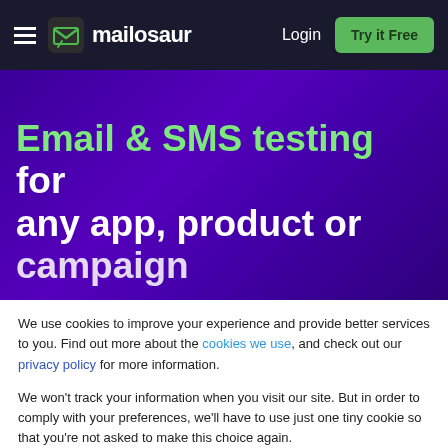mailoosaur — Login | Try it Free
Email & SMS testing for any app, product or campaign
We use cookies to improve your experience and provide better services to you. Find out more about the cookies we use, and check out our privacy policy for more information.
We won't track your information when you visit our site. But in order to comply with your preferences, we'll have to use just one tiny cookie so that you're not asked to make this choice again.
Accept | Decline